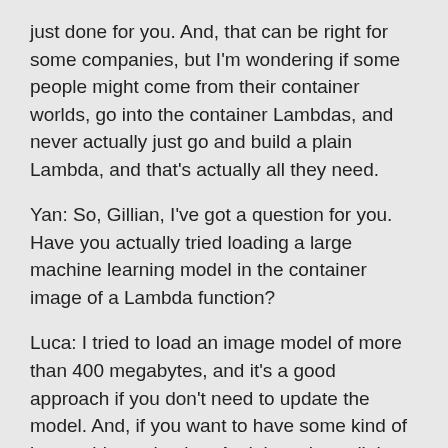just done for you. And, that can be right for some companies, but I'm wondering if some people might come from their container worlds, go into the container Lambdas, and never actually just go and build a plain Lambda, and that's actually all they need.
Yan: So, Gillian, I've got a question for you. Have you actually tried loading a large machine learning model in the container image of a Lambda function?
Luca: I tried to load an image model of more than 400 megabytes, and it's a good approach if you don't need to update the model. And, if you want to have some kind of immutable packaging. And, it works well, it requires a bit of time, when the engine is optimizing your container. Because, once you push, the workflows specifically that you push the image into an Amazon container, register it, and then you can integrate the lambda layer account, the